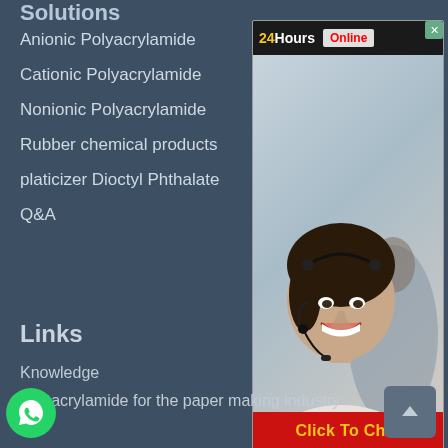Solutions
Anionic Polyacrylamide
Cationic Polyacrylamide
Nonionic Polyacrylamide
Rubber chemical products
platicizer Dioctyl Phthalate
Q&A
[Figure (screenshot): Live chat widget showing '24Hours Online' header, a female customer service representative wearing a headset smiling at camera, and a red 'Click To Chat' button at the bottom. Close button (x) in top-right corner.]
Links
Knowledge
Polyacrylamide for the paper making industry